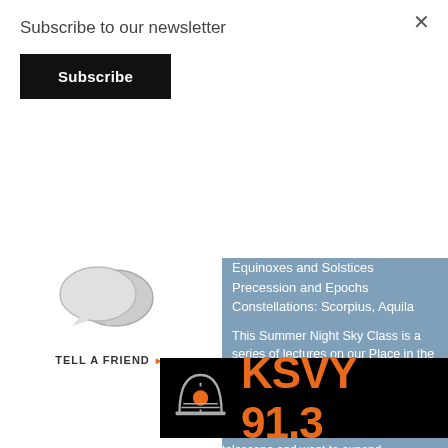Subscribe to our newsletter
Subscribe
×
[Figure (illustration): Two overlapping speech bubble icons in gray/silver, labeled TELL A FRIEND with an orange arrow]
Equinoxes and Solstices
Precession and Epochs
Constellations: Scorpius, Aquila
This Summer Night Sky Class is a series of lectures on our Place in the Universe and the Constellations of the Seasons.
[Figure (logo): KSVY 91.3 radio station logo on black background with orange text and a stylized arch/sun graphic]
designed
ed
amateur observers. Whether you want to learn the constellations or have a telescope and want to expand